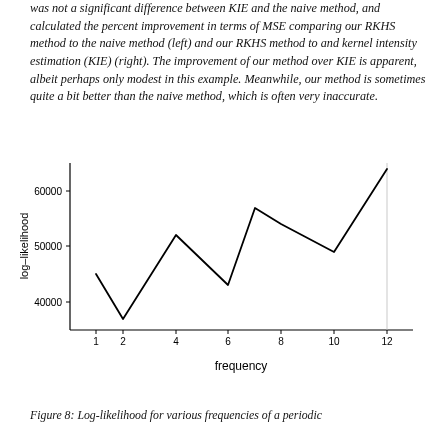was not a significant difference between KIE and the naive method, and calculated the percent improvement in terms of MSE comparing our RKHS method to the naive method (left) and our RKHS method to and kernel intensity estimation (KIE) (right). The improvement of our method over KIE is apparent, albeit perhaps only modest in this example. Meanwhile, our method is sometimes quite a bit better than the naive method, which is often very inaccurate.
[Figure (line-chart): ]
Figure 8: Log-likelihood for various frequencies of a periodic